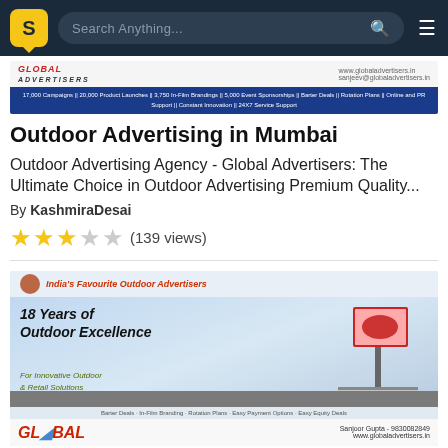Search Anything...
[Figure (photo): Global Advertisers banner with logo, contact info, and blue strip listing campaign statistics]
Outdoor Advertising in Mumbai
Outdoor Advertising Agency - Global Advertisers: The Ultimate Choice in Outdoor Advertising Premium Quality...
By KashmiraDesai
★★★☆☆ (139 views)
[Figure (photo): Global Advertisers promotional image: 18 Years of Outdoor Excellence, India's Favourite Outdoor Advertisers, with billboard illustration and contact Sanjoor Gupta 9830082849]